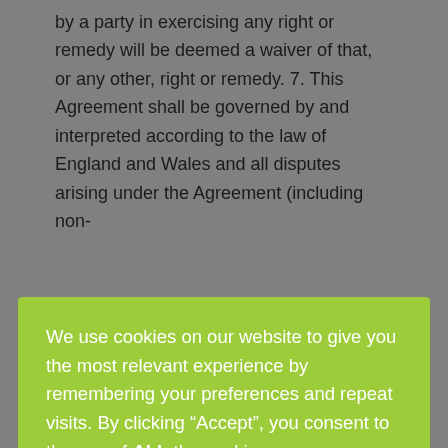by a party in exercising any right or remedy will be deemed a waiver of that, or any other, right or remedy. 7. This Agreement shall be governed by and interpreted according to the law of England and Wales and all disputes arising under the Agreement (including non-
[Figure (other): Cookie consent overlay banner with green background. Contains text: 'We use cookies on our website to give you the most relevant experience by remembering your preferences and repeat visits. By clicking "Accept", you consent to the use of ALL the cookies.' With 'Cookie settings' link and 'ACCEPT' button.]
Hull HU11NQ and it operates the Website www.ready2extend.com.
You can contact ARCIDOODLE LLP by email on info@arcidoodle.co.uk